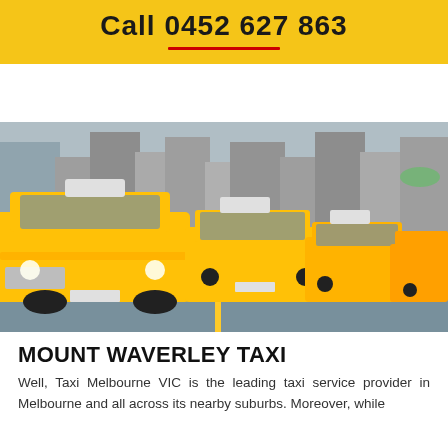Call 0452 627 863
[Figure (photo): Row of yellow taxis lined up on a city street, seen from a low angle at the front, with taxi signs on their roofs and a city skyline in the background.]
MOUNT WAVERLEY TAXI
Well, Taxi Melbourne VIC is the leading taxi service provider in Melbourne and all across its nearby suburbs. Moreover, while